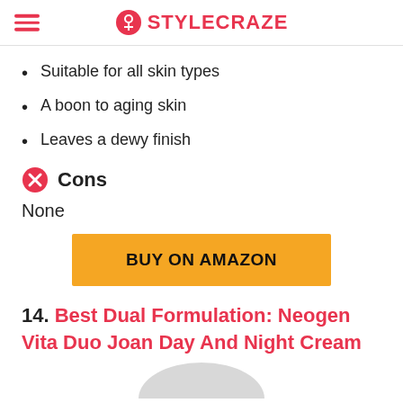STYLECRAZE
Suitable for all skin types
A boon to aging skin
Leaves a dewy finish
Cons
None
[Figure (other): BUY ON AMAZON button in yellow/orange]
14. Best Dual Formulation: Neogen Vita Duo Joan Day And Night Cream
[Figure (other): Bottom of a product image (circular top visible at bottom of page)]